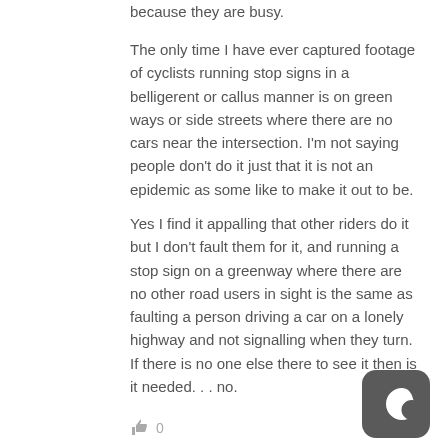because they are busy.
The only time I have ever captured footage of cyclists running stop signs in a belligerent or callus manner is on green ways or side streets where there are no cars near the intersection. I'm not saying people don't do it just that it is not an epidemic as some like to make it out to be.
Yes I find it appalling that other riders do it but I don't fault them for it, and running a stop sign on a greenway where there are no other road users in sight is the same as faulting a person driving a car on a lonely highway and not signalling when they turn. If there is no one else there to see it then is it needed. . . no.
👍 0